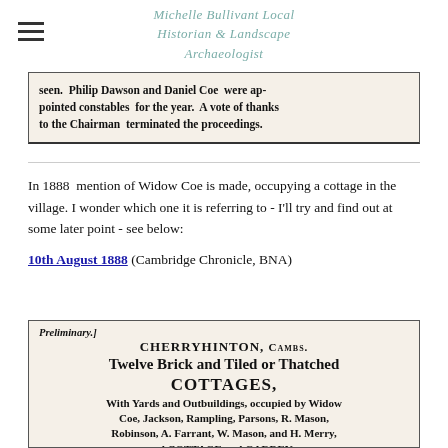Michelle Bullivant Local Historian & Landscape Archaeologist
[Figure (screenshot): Newspaper clipping showing text: 'seen. Philip Dawson and Daniel Coe were appointed constables for the year. A vote of thanks to the Chairman terminated the proceedings.']
In 1888 mention of Widow Coe is made, occupying a cottage in the village. I wonder which one it is referring to - I'll try and find out at some later point - see below:
10th August 1888 (Cambridge Chronicle, BNA)
[Figure (screenshot): Newspaper clipping showing: 'Preliminary.] CHERRYHINTON, CAMBS. Twelve Brick and Tiled or Thatched COTTAGES, With Yards and Outbuildings, occupied by Widow Coe, Jackson, Rampling, Parsons, R. Mason, Robinson, A. Farrant, W. Mason, and H. Merry, and COTTAGE and GARDEN...']